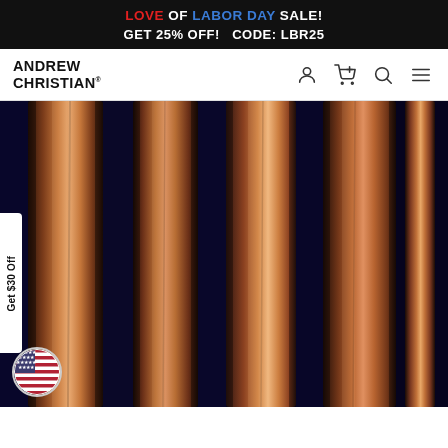LOVE OF LABOR DAY SALE! GET 25% OFF! CODE: LBR25
ANDREW CHRISTIAN®
[Figure (photo): Close-up view of shiny copper/metallic vertical rods or poles against a dark navy/black background, resembling metallic curtain poles or decorative columns with reflective surfaces.]
Get $30 Off